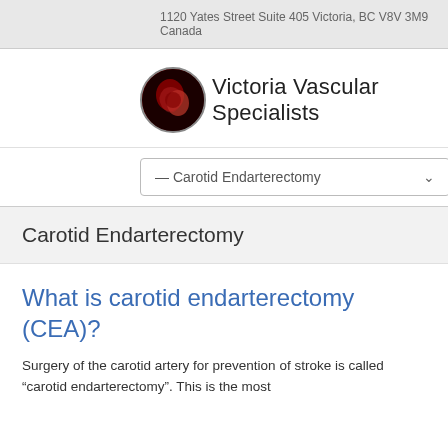1120 Yates Street Suite 405 Victoria, BC V8V 3M9 Canada
Victoria Vascular Specialists
— Carotid Endarterectomy
Carotid Endarterectomy
What is carotid endarterectomy (CEA)?
Surgery of the carotid artery for prevention of stroke is called "carotid endarterectomy". This is the most